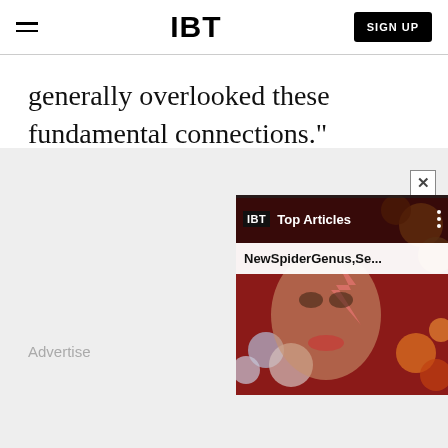IBT | SIGN UP
generally overlooked these fundamental connections."
[Figure (screenshot): IBT website advertisement area with a popup widget showing 'Top Articles' and article title 'NewSpiderGenus,Se...' overlaid on an image background. The word 'Advertise' appears in gray. An X close button is visible.]